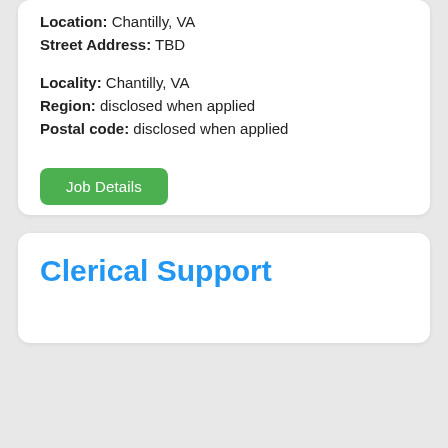Location: Chantilly, VA
Street Address: TBD
Locality: Chantilly, VA
Region: disclosed when applied
Postal code: disclosed when applied
Job Details
Clerical Support